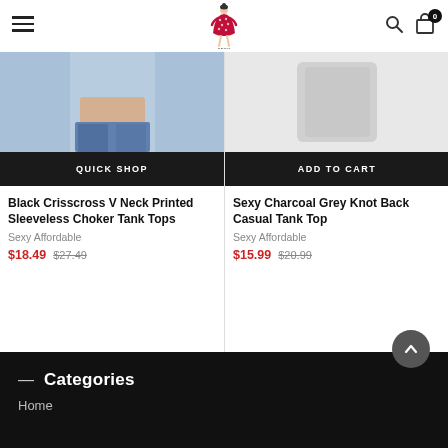[Figure (logo): Sexy Affordable brand logo with illustrated woman in red polka dot dress]
[Figure (photo): Product image for Black Crisscross V Neck Printed Sleeveless Choker Tank Tops - showing model's torso in denim and tank top]
QUICK SHOP
Black Crisscross V Neck Printed Sleeveless Choker Tank Tops
Sexy Affordable
$18.49  $27.49
[Figure (photo): Product image for Sexy Charcoal Grey Knot Back Casual Tank Top - light grey product on neutral background]
ADD TO CART
Sexy Charcoal Grey Knot Back Casual Tank Top
Sexy Affordable
$15.99  $20.99
Categories
Home